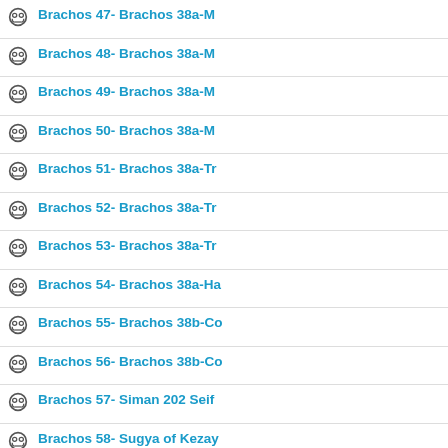Brachos 47- Brachos 38a-M
Brachos 48- Brachos 38a-M
Brachos 49- Brachos 38a-M
Brachos 50- Brachos 38a-M
Brachos 51- Brachos 38a-Tr
Brachos 52- Brachos 38a-Tr
Brachos 53- Brachos 38a-Tr
Brachos 54- Brachos 38a-Ha
Brachos 55- Brachos 38b-Co
Brachos 56- Brachos 38b-Co
Brachos 57- Siman 202 Seif
Brachos 58- Sugya of Kezay Reingold
Brachos 59- Sugya of Kezay
Brachos 61-Brachos 38b-39 Rabbi Eliyahu Reingold
Brachos 62-Tur Siman 210 -
Brachos 63-Shulchan Aruch